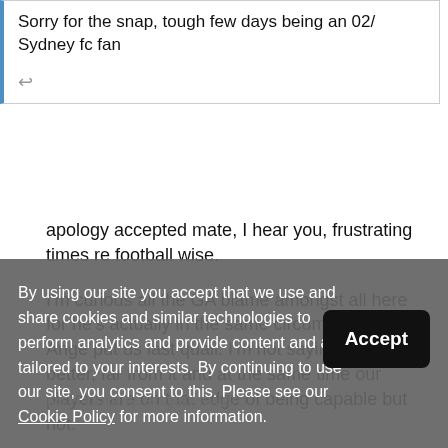Sorry for the snap, tough few days being an 02/Sydney fc fan
apology accepted mate, I hear you, frustrating times re football wise.
I'm curious all the GA blame amongst all here for he's actually in the same circumstance as Ange put us last quali. I'm not saying he's any better, far from it and at the same time our players are on that edge of being capable but not. Its a double edged sword.
By using our site you accept that we use and share cookies and similar technologies to perform analytics and provide content and ads tailored to your interests. By continuing to use our site, you consent to this. Please see our Cookie Policy for more information.